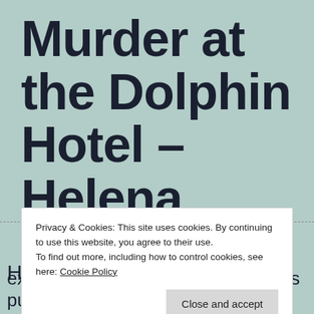Murder at the Dolphin Hotel – Helena Dixon
Privacy & Cookies: This site uses cookies. By continuing to use this website, you agree to their use.
To find out more, including how to control cookies, see here: Cookie Policy
[Close and accept]
H
excerpt of her new novel, which was published